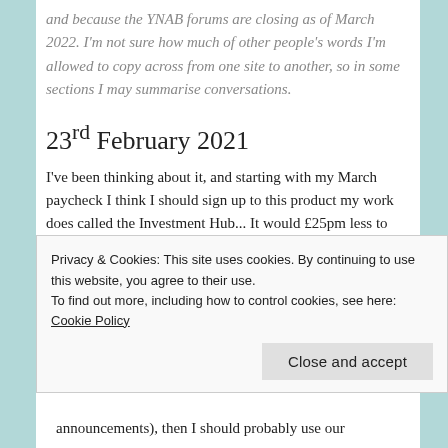and because the YNAB forums are closing as of March 2022. I'm not sure how much of other people's words I'm allowed to copy across from one site to another, so in some sections I may summarise conversations.
23rd February 2021
I've been thinking about it, and starting with my March paycheck I think I should sign up to this product my work does called the Investment Hub... It would £25pm less to put towards my
Privacy & Cookies: This site uses cookies. By continuing to use this website, you agree to their use.
To find out more, including how to control cookies, see here: Cookie Policy
announcements), then I should probably use our